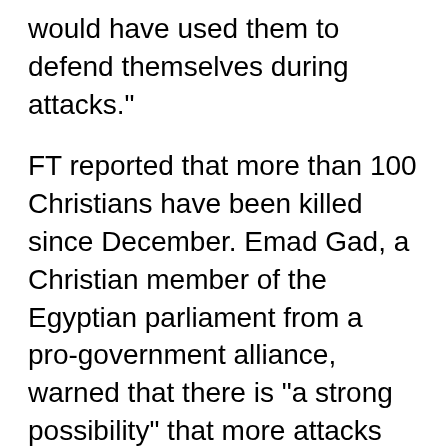would have used them to defend themselves during attacks."
FT reported that more than 100 Christians have been killed since December. Emad Gad, a Christian member of the Egyptian parliament from a pro-government alliance, warned that there is "a strong possibility" that more attacks are coming.
"Security measures [may help] but the community is anxious and feels there is nothing it can do to protect itself," Gad said.
Mokhtar Awad, research fellow at George Washington University's Program on Extremism,